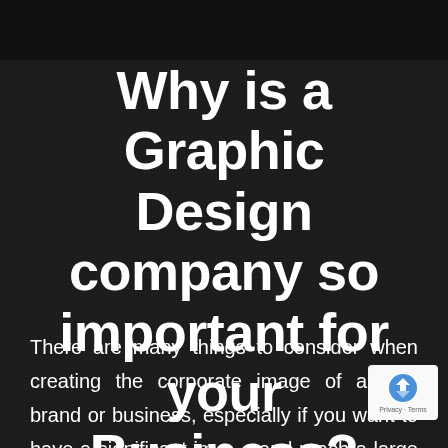Why is a Graphic Design company so important for your Business?
There are many things to consider when creating the corporate image of a new brand or business, especially if you want to have a significant impact and reach a large number of customers. Most importantly, how do you get the best graphic